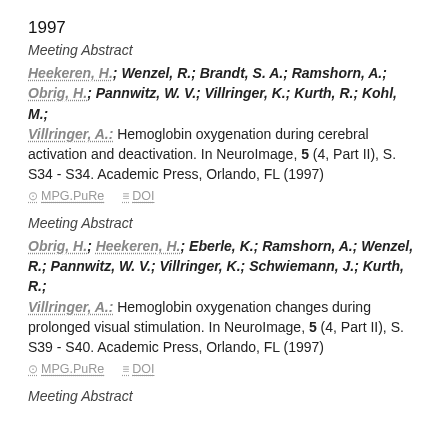1997
Meeting Abstract
Heekeren, H.; Wenzel, R.; Brandt, S. A.; Ramshorn, A.; Obrig, H.; Pannwitz, W. V.; Villringer, K.; Kurth, R.; Kohl, M.; Villringer, A.: Hemoglobin oxygenation during cerebral activation and deactivation. In NeuroImage, 5 (4, Part II), S. S34 - S34. Academic Press, Orlando, FL (1997)
MPG.PuRe   DOI
Meeting Abstract
Obrig, H.; Heekeren, H.; Eberle, K.; Ramshorn, A.; Wenzel, R.; Pannwitz, W. V.; Villringer, K.; Schwiemann, J.; Kurth, R.; Villringer, A.: Hemoglobin oxygenation changes during prolonged visual stimulation. In NeuroImage, 5 (4, Part II), S. S39 - S40. Academic Press, Orlando, FL (1997)
MPG.PuRe   DOI
Meeting Abstract